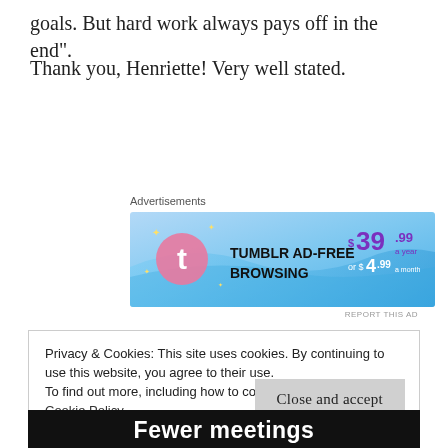goals. But hard work always pays off in the end”.
Thank you, Henriette! Very well stated.
Advertisements
[Figure (infographic): Tumblr Ad-Free Browsing advertisement banner showing $39.99 a year or $4.99 a month pricing on a blue gradient background with the Tumblr logo.]
REPORT THIS AD
Privacy & Cookies: This site uses cookies. By continuing to use this website, you agree to their use.
To find out more, including how to control cookies, see here:
Cookie Policy
Close and accept
[Figure (infographic): Footer banner with text 'Fewer meetings' in bold white on black background.]